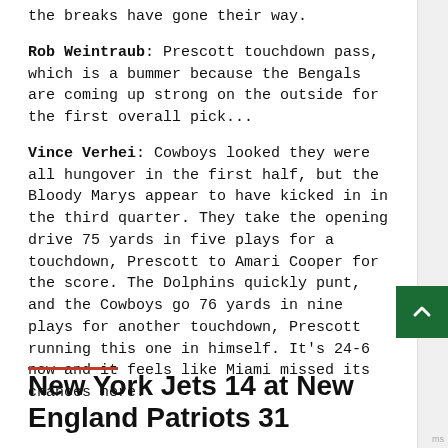the breaks have gone their way.
Rob Weintraub: Prescott touchdown pass, which is a bummer because the Bengals are coming up strong on the outside for the first overall pick...
Vince Verhei: Cowboys looked they were all hungover in the first half, but the Bloody Marys appear to have kicked in in the third quarter. They take the opening drive 75 yards in five plays for a touchdown, Prescott to Amari Cooper for the score. The Dolphins quickly punt, and the Cowboys go 76 yards in nine plays for another touchdown, Prescott running this one in himself. It's 24-6 now and it feels like Miami missed its chances here.
New York Jets 14 at New England Patriots 31